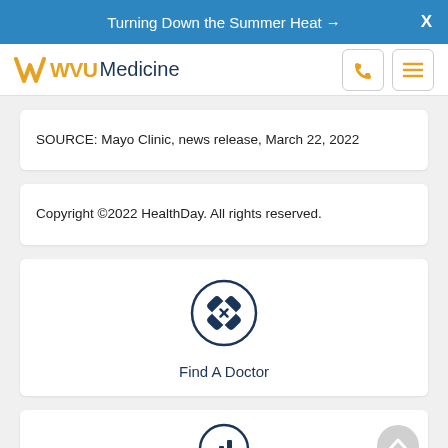Turning Down the Summer Heat →  X
[Figure (logo): WVU Medicine logo with flying WV in gold and 'Medicine' in blue, plus phone and menu icons]
SOURCE: Mayo Clinic, news release, March 22, 2022
Copyright ©2022 HealthDay. All rights reserved.
[Figure (illustration): Circle icon with a bandage/cross symbol representing Find A Doctor]
Find A Doctor
[Figure (illustration): Partial circle icon with a bar chart symbol, partially visible at bottom]